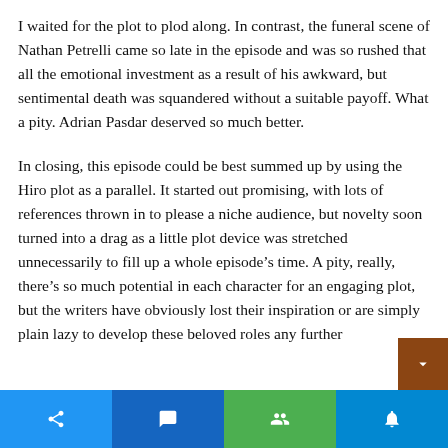I waited for the plot to plod along. In contrast, the funeral scene of Nathan Petrelli came so late in the episode and was so rushed that all the emotional investment as a result of his awkward, but sentimental death was squandered without a suitable payoff. What a pity. Adrian Pasdar deserved so much better.
In closing, this episode could be best summed up by using the Hiro plot as a parallel. It started out promising, with lots of references thrown in to please a niche audience, but novelty soon turned into a drag as a little plot device was stretched unnecessarily to fill up a whole episode's time. A pity, really, there's so much potential in each character for an engaging plot, but the writers have obviously lost their inspiration or are simply plain lazy to develop these beloved roles any further